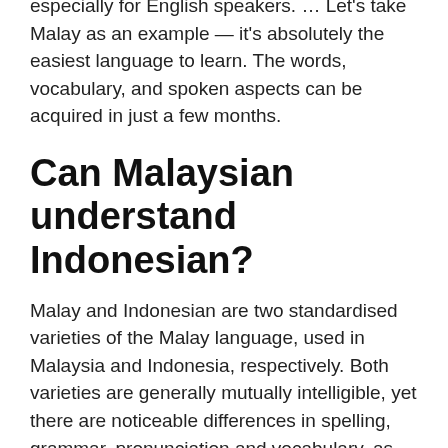especially for English speakers. … Let's take Malay as an example — it's absolutely the easiest language to learn. The words, vocabulary, and spoken aspects can be acquired in just a few months.
Can Malaysian understand Indonesian?
Malay and Indonesian are two standardised varieties of the Malay language, used in Malaysia and Indonesia, respectively. Both varieties are generally mutually intelligible, yet there are noticeable differences in spelling, grammar, pronunciation and vocabulary, as well as the predominant source of loanwords.